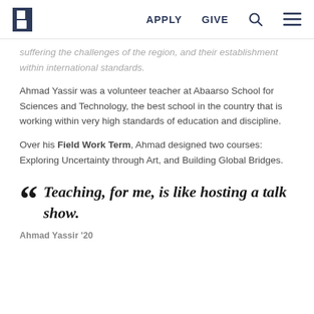B  APPLY  GIVE
suffering the challenges of the region, and their establishment within international standards.
Ahmad Yassir was a volunteer teacher at Abaarso School for Sciences and Technology, the best school in the country that is working within very high standards of education and discipline.
Over his Field Work Term, Ahmad designed two courses: Exploring Uncertainty through Art, and Building Global Bridges.
Teaching, for me, is like hosting a talk show.
Ahmad Yassir '20